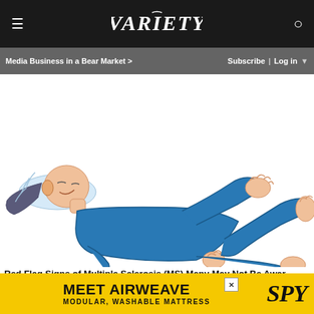≡  VARIETY  👤
Media Business in a Bear Market >   Subscribe | Log in ▼
[Figure (illustration): Illustration of a person lying on their back in blue clothing, arms and legs raised in the air, appearing to have spasms or convulsions, on a white background — associated with Multiple Sclerosis symptoms.]
Red Flag Signs of Multiple Sclerosis (MS) Many May Not Be Aware
[Figure (other): Advertisement banner: MEET AIRWEAVE MODULAR, WASHABLE MATTRESS with SPY logo on yellow background]